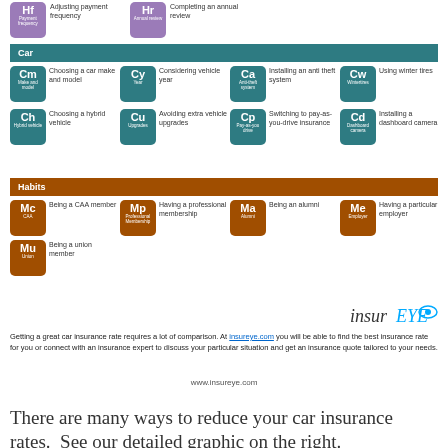[Figure (infographic): Partial top row showing purple element tiles: Hf (Payment frequency) - Adjusting payment frequency, Hr (Annual review) - Completing an annual review]
Car
[Figure (infographic): Car section grid with teal element tiles: Cm (Make and model) - Choosing a car make and model, Cy (Year) - Considering vehicle year, Ca (Anti-theft system) - Installing an anti theft system, Cw (Wintertires) - Using winter tires, Ch (Hybrid vehicle) - Choosing a hybrid vehicle, Cu (Upgrades) - Avoiding extra vehicle upgrades, Cp (Pay-as-you-drive) - Switching to pay-as-you-drive insurance, Cd (Dashboard camera) - Installing a dashboard camera]
Habits
[Figure (infographic): Habits section grid with brown element tiles: Mc (CAA) - Being a CAA member, Mp (Professional Membership) - Having a professional membership, Ma (Alumni) - Being an alumni, Me (Employer) - Having a particular employer, Mu (Union) - Being a union member]
[Figure (logo): InsurEYE logo - italic text with eye graphic]
Getting a great car insurance rate requires a lot of comparison. At insureye.com you will be able to find the best insurance rate for you or connect with an insurance expert to discuss your particular situation and get an insurance quote tailored to your needs.
www.insureye.com
There are many ways to reduce your car insurance rates.  See our detailed graphic on the right.